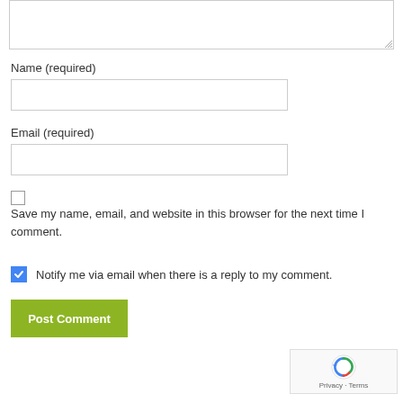[Figure (screenshot): Textarea input box (comment field) with resize handle at bottom-right]
Name (required)
[Figure (screenshot): Text input field for Name]
Email (required)
[Figure (screenshot): Text input field for Email]
[Figure (screenshot): Unchecked checkbox for saving name/email/website]
Save my name, email, and website in this browser for the next time I comment.
[Figure (screenshot): Checked blue checkbox followed by text: Notify me via email when there is a reply to my comment.]
[Figure (screenshot): Post Comment button (olive/green color)]
[Figure (screenshot): reCAPTCHA widget with Privacy and Terms links]